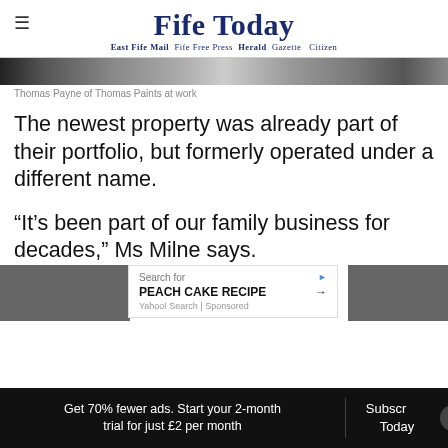Fife Today
East Fife Mail  Fife Free Press  Herald  Gazette  Citizen
[Figure (photo): Cropped photo strip showing Thomas Payne of Thomas Paints at work]
Thomas Payne of Thomas Paints at work
The newest property was already part of their portfolio, but formerly operated under a different name.
“It’s been part of our family business for decades,” Ms Milne says.
"Whe...
Get 70% fewer ads. Start your 2-month trial for just £2 per month
Subscribe Today